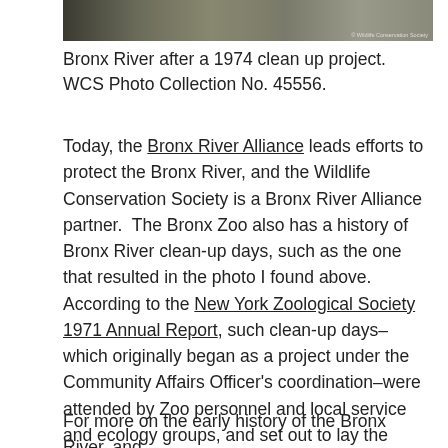[Figure (photo): Partial view of Bronx River after a 1974 clean up project, black and white photo with Wildlife Conservation Society watermark in bottom right.]
Bronx River after a 1974 clean up project. WCS Photo Collection No. 45556.
Today, the Bronx River Alliance leads efforts to protect the Bronx River, and the Wildlife Conservation Society is a Bronx River Alliance partner.  The Bronx Zoo also has a history of Bronx River clean-up days, such as the one that resulted in the photo I found above. According to the New York Zoological Society 1971 Annual Report, such clean-up days–which originally began as a project under the Community Affairs Officer's coordination–were attended by Zoo personnel and local service and ecology groups, and set out to lay the groundwork for a more extensive Bronx River project in the future.
For more on the early history of the Bronx River, and